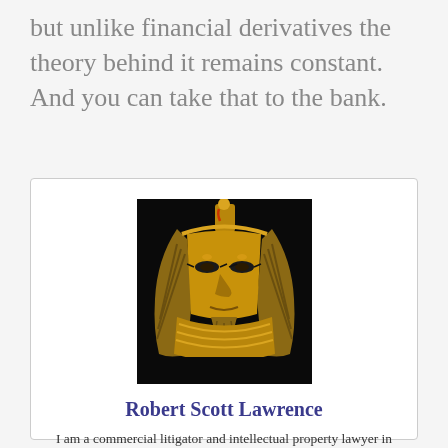but unlike financial derivatives the theory behind it remains constant. And you can take that to the bank.
[Figure (photo): Golden pharaoh mask/bust resembling Tutankhamun, photographed against a dark background]
Robert Scott Lawrence
I am a commercial litigator and intellectual property lawyer in Orange County. Although my practice encompasses a wide variety of business disputes, I have a particular fondness for, and am prone to wax philosophical on, the subjects of copyright and trademark infringement in music, literature, art, and film.